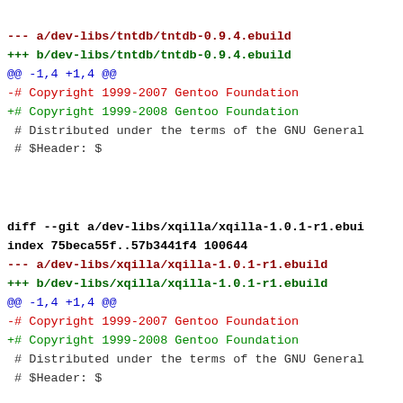--- a/dev-libs/tntdb/tntdb-0.9.4.ebuild
+++ b/dev-libs/tntdb/tntdb-0.9.4.ebuild
@@ -1,4 +1,4 @@
-# Copyright 1999-2007 Gentoo Foundation
+# Copyright 1999-2008 Gentoo Foundation
 # Distributed under the terms of the GNU General
 # $Header: $
diff --git a/dev-libs/xqilla/xqilla-1.0.1-r1.ebui
index 75beca55f..57b3441f4 100644
--- a/dev-libs/xqilla/xqilla-1.0.1-r1.ebuild
+++ b/dev-libs/xqilla/xqilla-1.0.1-r1.ebuild
@@ -1,4 +1,4 @@
-# Copyright 1999-2007 Gentoo Foundation
+# Copyright 1999-2008 Gentoo Foundation
 # Distributed under the terms of the GNU General
 # $Header: $
diff --git a/dev-perl/Image-MetaData-JPEG/Image-M
index 6784df940..50a3459e3 100644